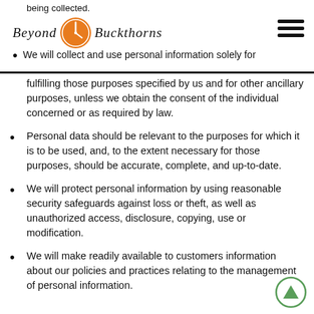Beyond Buckthorns
We will collect and use personal information solely for fulfilling those purposes specified by us and for other ancillary purposes, unless we obtain the consent of the individual concerned or as required by law.
Personal data should be relevant to the purposes for which it is to be used, and, to the extent necessary for those purposes, should be accurate, complete, and up-to-date.
We will protect personal information by using reasonable security safeguards against loss or theft, as well as unauthorized access, disclosure, copying, use or modification.
We will make readily available to customers information about our policies and practices relating to the management of personal information.